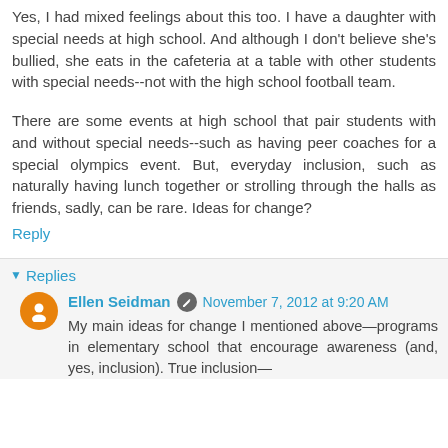Yes, I had mixed feelings about this too. I have a daughter with special needs at high school. And although I don't believe she's bullied, she eats in the cafeteria at a table with other students with special needs--not with the high school football team.
There are some events at high school that pair students with and without special needs--such as having peer coaches for a special olympics event. But, everyday inclusion, such as naturally having lunch together or strolling through the halls as friends, sadly, can be rare. Ideas for change?
Reply
Replies
Ellen Seidman   November 7, 2012 at 9:20 AM
My main ideas for change I mentioned above—programs in elementary school that encourage awareness (and, yes, inclusion). True inclusion—